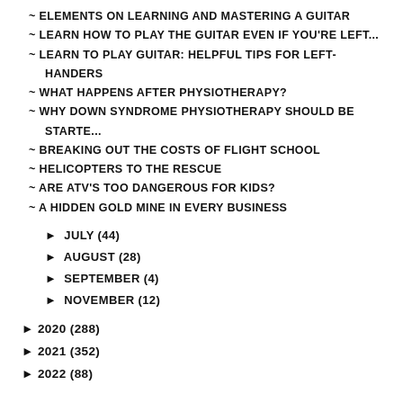~ ELEMENTS ON LEARNING AND MASTERING A GUITAR
~ LEARN HOW TO PLAY THE GUITAR EVEN IF YOU'RE LEFT...
~ LEARN TO PLAY GUITAR: HELPFUL TIPS FOR LEFT-HANDERS
~ WHAT HAPPENS AFTER PHYSIOTHERAPY?
~ WHY DOWN SYNDROME PHYSIOTHERAPY SHOULD BE STARTE...
~ BREAKING OUT THE COSTS OF FLIGHT SCHOOL
~ HELICOPTERS TO THE RESCUE
~ ARE ATV'S TOO DANGEROUS FOR KIDS?
~ A HIDDEN GOLD MINE IN EVERY BUSINESS
► JULY (44)
► AUGUST (28)
► SEPTEMBER (4)
► NOVEMBER (12)
► 2020 (288)
► 2021 (352)
► 2022 (88)